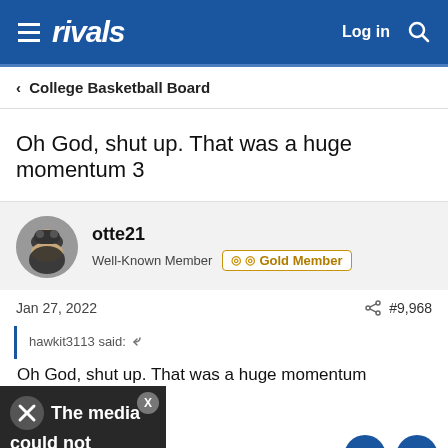rivals  Log in
< College Basketball Board
Oh God, shut up. That was a huge momentum 3
otte21
Well-Known Member  Gold Member
Jan 27, 2022   #9,968
hawkit3113 said:
The media could not be loaded.
Oh God, shut up. That was a huge momentum